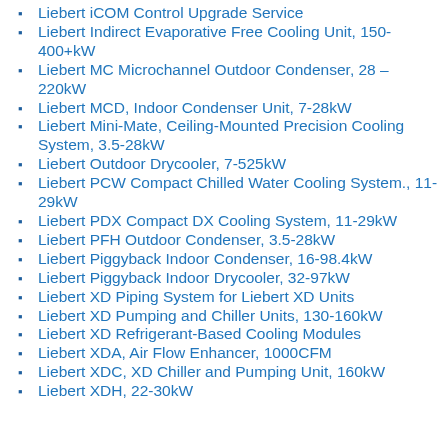Liebert iCOM Control Upgrade Service
Liebert Indirect Evaporative Free Cooling Unit, 150-400+kW
Liebert MC Microchannel Outdoor Condenser, 28 – 220kW
Liebert MCD, Indoor Condenser Unit, 7-28kW
Liebert Mini-Mate, Ceiling-Mounted Precision Cooling System, 3.5-28kW
Liebert Outdoor Drycooler, 7-525kW
Liebert PCW Compact Chilled Water Cooling System., 11-29kW
Liebert PDX Compact DX Cooling System, 11-29kW
Liebert PFH Outdoor Condenser, 3.5-28kW
Liebert Piggyback Indoor Condenser, 16-98.4kW
Liebert Piggyback Indoor Drycooler, 32-97kW
Liebert XD Piping System for Liebert XD Units
Liebert XD Pumping and Chiller Units, 130-160kW
Liebert XD Refrigerant-Based Cooling Modules
Liebert XDA, Air Flow Enhancer, 1000CFM
Liebert XDC, XD Chiller and Pumping Unit, 160kW
Liebert XDH, 22-30kW